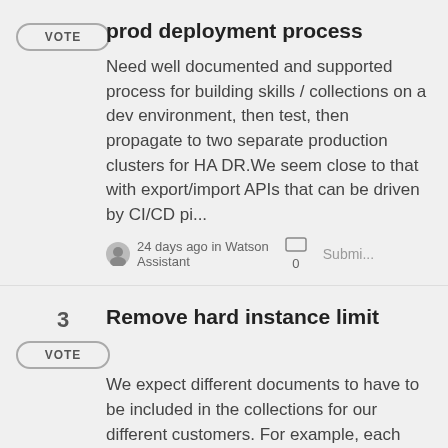prod deployment process
Need well documented and supported process for building skills / collections on a dev environment, then test, then propagate to two separate production clusters for HA DR.We seem close to that with export/import APIs that can be driven by CI/CD pi...
24 days ago in Watson Assistant   0   Submi...
Remove hard instance limit
We expect different documents to have to be included in the collections for our different customers. For example, each our customers has its own guidelines and policies, which only members of their company can be able to add/modify without interfe...
24 days ago in Watson